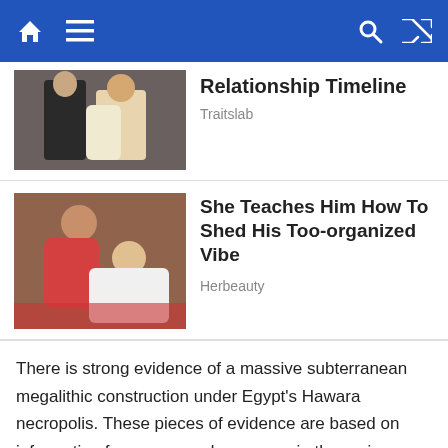Navigation bar with home, menu, search, and shuffle icons
[Figure (photo): Cropped top of article card with image of couple at formal event, showing only partial headline 'Relationship Timeline' and source 'Traitslab']
Relationship Timeline
Traitslab
[Figure (photo): Article card image showing a man and woman in an intimate scene on a bed]
She Teaches Him How To Shed His Too-organized Vibe
Herbeauty
There is strong evidence of a massive subterranean megalithic construction under Egypt's Hawara necropolis. These pieces of evidence are based on information from many radar sweeps in the region conducted by the Mataha Expedition in collaboration with the University of Ghent in Belgium and other government agencies.
Many antiquity writers and chroniclers have referred to Egypt's so-called Labyrinth, which is thought to be a massive structure and